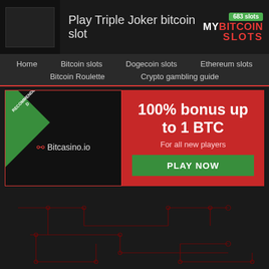Play Triple Joker bitcoin slot | MY BITCOIN SLOTS | 683 slots
Home | Bitcoin slots | Dogecoin slots | Ethereum slots | Bitcoin Roulette | Crypto gambling guide
[Figure (infographic): Bitcasino.io promotional banner with 'RECOMMENDED' ribbon, showing '100% bonus up to 1 BTC - For all new players - PLAY NOW' button]
[Figure (illustration): Dark background with red circuit board pattern]
Play Triple Joker slot for free